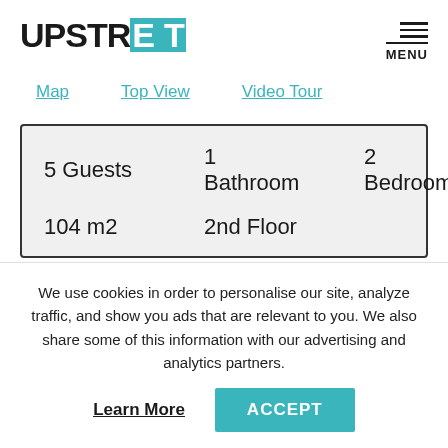UPSTREET
Map
Top View
Video Tour
| 5 Guests | 1 Bathroom | 2 Bedroom | Elevator |
| 104 m2 | 2nd Floor |  |  |
[Figure (illustration): Location pin icon in teal outline style]
Acropolis
We use cookies in order to personalise our site, analyze traffic, and show you ads that are relevant to you. We also share some of this information with our advertising and analytics partners.
Learn More
ACCEPT